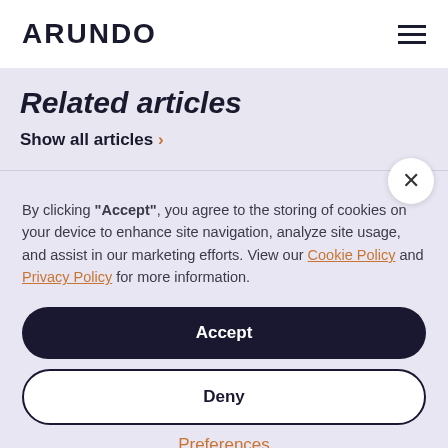ARUNDO
Related articles
Show all articles >
By clicking “Accept”, you agree to the storing of cookies on your device to enhance site navigation, analyze site usage, and assist in our marketing efforts. View our Cookie Policy and Privacy Policy for more information.
Accept
Deny
Preferences